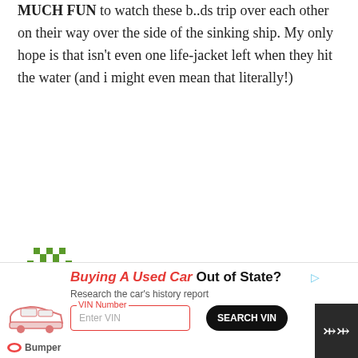MUCH FUN to watch these b..ds trip over each other on their way over the side of the sinking ship. My only hope is that isn't even one life-jacket left when they hit the water (and i might even mean that literally!)
[Figure (illustration): Green pixel/diamond pattern avatar icon]
Aney Apochchi! / April 20, 2013
[Figure (infographic): Thumbs up (green, count 0) and thumbs down (red, count 0) voting buttons, and X close button]
[Figure (infographic): Advertisement banner: Buying A Used Car Out of State? Research the car's history report. VIN Number input field with SEARCH VIN button. Bumper logo. Scroll-to-top button.]